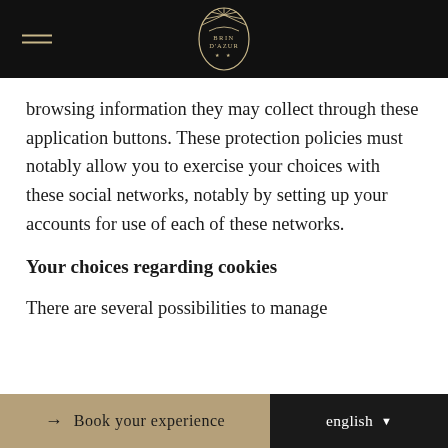[Figure (logo): Brin d'Azur hotel logo in gold oval with sunburst, on black header bar with hamburger menu icon]
browsing information they may collect through these application buttons. These protection policies must notably allow you to exercise your choices with these social networks, notably by setting up your accounts for use of each of these networks.
Your choices regarding cookies
There are several possibilities to manage
→ Book your experience   english ▼